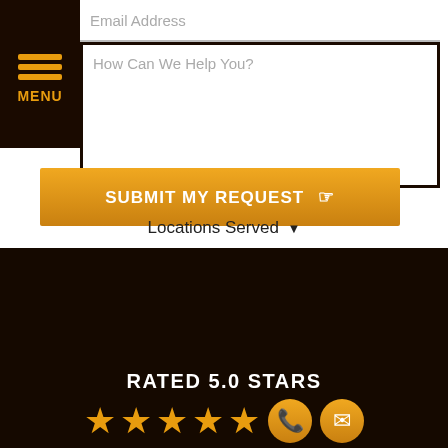Email Address
How Can We Help You?
SUBMIT MY REQUEST
Locations Served
RATED 5.0 STARS
(Based on & Client Reviews)